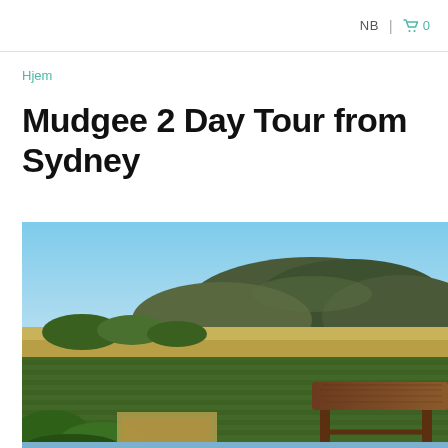NB | 🛒 0
Hjem
Mudgee 2 Day Tour from Sydney
[Figure (photo): Landscape photo of Mudgee vineyard region with rows of green grapevines in foreground, open farmland in middle distance, and dark green hills/mountains under a clear blue sky. A rustic wooden table/bench is visible in the lower right corner.]